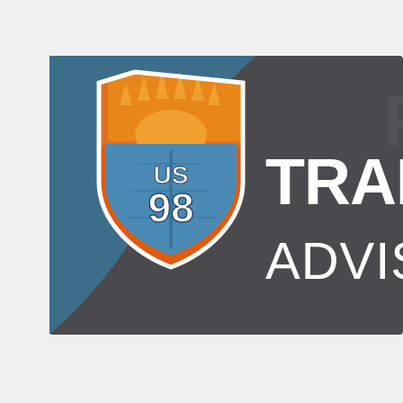[Figure (logo): US 98 Traffic Advisory logo. A shield badge with orange/red top displaying a sunrise graphic and the text 'US 98' and '98' in white on a blue lower section. To the right of the shield, white bold text reads 'TRAF' (truncated) on the first line and 'ADVISO' (truncated) on the second line, on a dark charcoal background with a blue curved section in the upper-left area.]